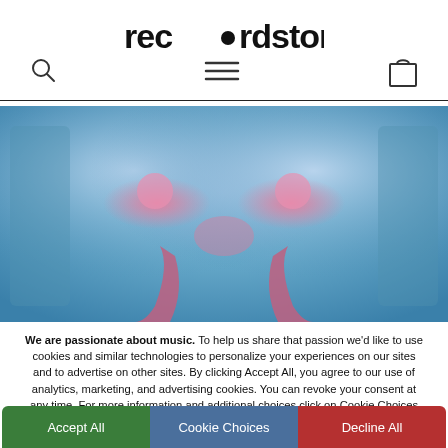rec•rdstore
[Figure (illustration): Abstract blue and pink artistic image with symmetrical figures in a blue-lit environment, used as hero image for recordstore website]
We are passionate about music. To help us share that passion we'd like to use cookies and similar technologies to personalize your experiences on our sites and to advertise on other sites. By clicking Accept All, you agree to our use of analytics, marketing, and advertising cookies. You can revoke your consent at any time. For more information and additional choices click on Cookie Choices below. Privacy Policy.